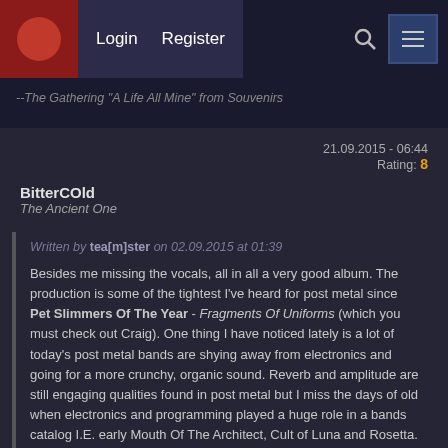Login   Register
--The Gathering "A Life All Mine" from Souvenirs
21.09.2015 - 06:44
Rating: 8
BitterCOld
The Ancient One
Written by tea[m]ster on 02.09.2015 at 01:39

Besides me missing the vocals, all in all a very good album. The production is some of the tightest I've heard for post metal since Pet Slimmers Of The Year - Fragments Of Uniforms (which you must check out Craig). One thing I have noticed lately is a lot of today's post metal bands are shying away from electronics and going for a more crunchy, organic sound. Reverb and amplitude are still engaging qualities found in post metal but I miss the days of old when electronics and programming played a huge role in a bands catalog I.E. early Mouth Of The Architect, Cult of Luna and Rosetta. Great review and thanks.